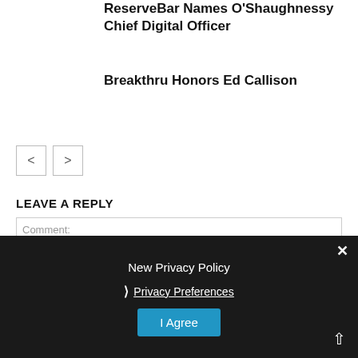ReserveBar Names O'Shaughnessy Chief Digital Officer
Breakthru Honors Ed Callison
< >
LEAVE A REPLY
Comment:
New Privacy Policy
❯ Privacy Preferences
I Agree